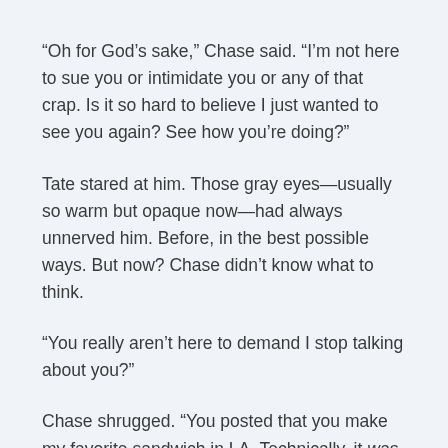“Oh for God’s sake,” Chase said. “I’m not here to sue you or intimidate you or any of that crap. Is it so hard to believe I just wanted to see you again? See how you’re doing?”
Tate stared at him. Those gray eyes—usually so warm but opaque now—had always unnerved him. Before, in the best possible ways. But now? Chase didn’t know what to think.
“You really aren’t here to demand I stop talking about you?”
Chase shrugged. “You posted that you make my favorite sandwich in LA. Technically, it was true. You did, just ten years ago. And now I’ve